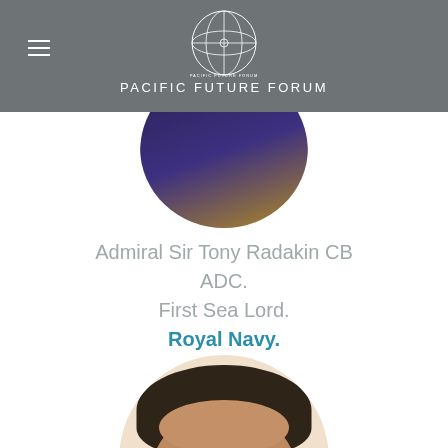PACIFIC FUTURE FORUM
[Figure (photo): Circular profile photo of Admiral Sir Tony Radakin, partially visible at top]
Admiral Sir Tony Radakin CB ADC.
First Sea Lord.
Royal Navy.
[Figure (photo): Circular profile photo of a second speaker, partially visible at bottom of page]